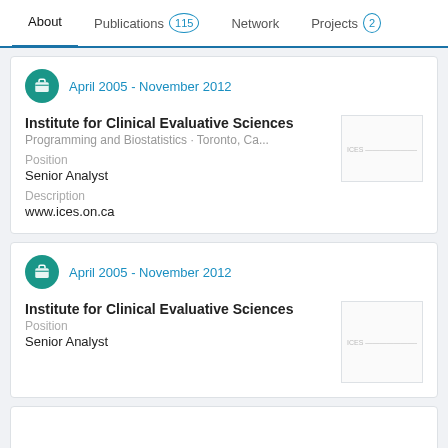About  Publications 115  Network  Projects 2
April 2005 - November 2012
Institute for Clinical Evaluative Sciences
Programming and Biostatistics · Toronto, Ca...
Position
Senior Analyst
Description
www.ices.on.ca
April 2005 - November 2012
Institute for Clinical Evaluative Sciences
Position
Senior Analyst